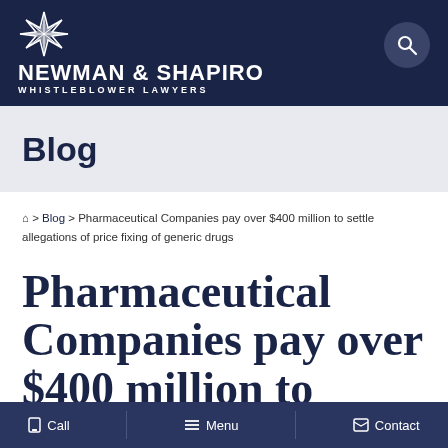[Figure (logo): Newman & Shapiro Whistleblower Lawyers logo with geometric diamond/starburst icon in white on dark navy background]
Blog
⌂ > Blog > Pharmaceutical Companies pay over $400 million to settle allegations of price fixing of generic drugs
Pharmaceutical Companies pay over $400 million to settle allegations of price
📱 Call  ≡ Menu  🖷 Contact